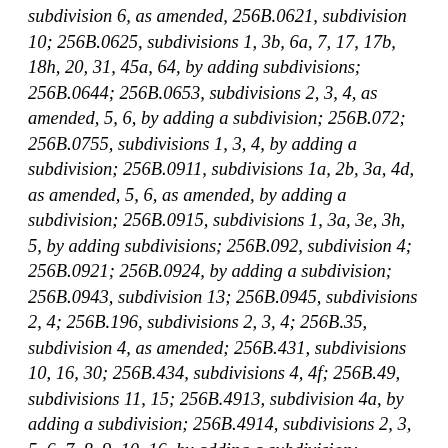subdivision 6, as amended, 256B.0621, subdivision 10; 256B.0625, subdivisions 1, 3b, 6a, 7, 17, 17b, 18h, 20, 31, 45a, 64, by adding subdivisions; 256B.0644; 256B.0653, subdivisions 2, 3, 4, as amended, 5, 6, by adding a subdivision; 256B.072; 256B.0755, subdivisions 1, 3, 4, by adding a subdivision; 256B.0911, subdivisions 1a, 2b, 3a, 4d, as amended, 5, 6, as amended, by adding a subdivision; 256B.0915, subdivisions 1, 3a, 3e, 3h, 5, by adding subdivisions; 256B.092, subdivision 4; 256B.0921; 256B.0924, by adding a subdivision; 256B.0943, subdivision 13; 256B.0945, subdivisions 2, 4; 256B.196, subdivisions 2, 3, 4; 256B.35, subdivision 4, as amended; 256B.431, subdivisions 10, 16, 30; 256B.434, subdivisions 4, 4f; 256B.49, subdivisions 11, 15; 256B.4913, subdivision 4a, by adding a subdivision; 256B.4914, subdivisions 2, 3, 5, 6, 7, 8, 9, 10, 16, by adding a subdivision; 256B.493, subdivisions 1, 2, by adding a subdivision; 256B.50, subdivision 1b; 256B.5012, by adding subdivisions; 256B.69, subdivision 9e, by adding subdivisions; 256B.75; 256B.76, subdivisions 1, as amended, 2; 256B.761;